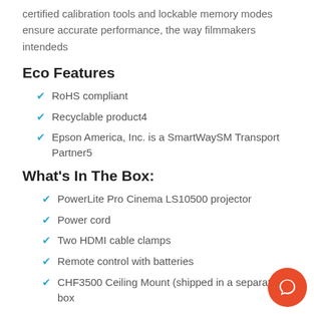certified calibration tools and lockable memory modes ensure accurate performance, the way filmmakers intendeds
Eco Features
RoHS compliant
Recyclable product4
Epson America, Inc. is a SmartWaySM Transport Partner5
What's In The Box:
PowerLite Pro Cinema LS10500 projector
Power cord
Two HDMI cable clamps
Remote control with batteries
CHF3500 Ceiling Mount (shipped in a separate box